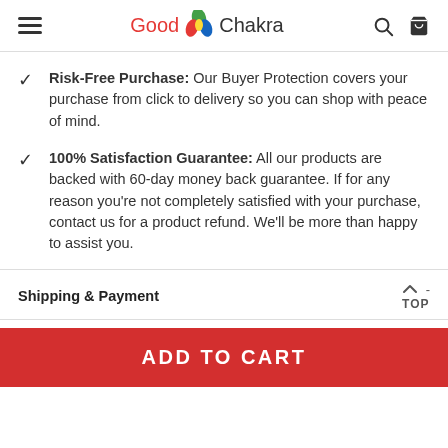Good Chakra
Risk-Free Purchase: Our Buyer Protection covers your purchase from click to delivery so you can shop with peace of mind.
100% Satisfaction Guarantee: All our products are backed with 60-day money back guarantee. If for any reason you're not completely satisfied with your purchase, contact us for a product refund. We'll be more than happy to assist you.
Shipping & Payment
ADD TO CART